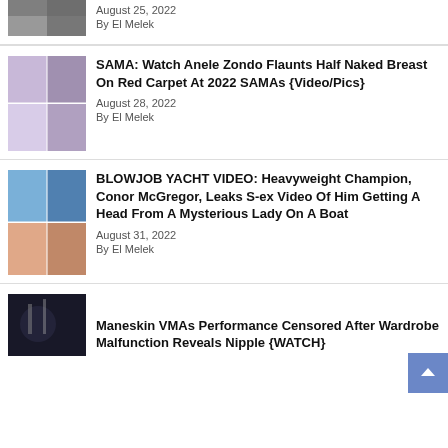[Figure (photo): Partial thumbnail image at top, cropped]
August 25, 2022
By El Melek
[Figure (photo): Thumbnail showing women at SAMA red carpet event]
SAMA: Watch Anele Zondo Flaunts Half Naked Breast On Red Carpet At 2022 SAMAs {Video/Pics}
August 28, 2022
By El Melek
[Figure (photo): Thumbnail showing Conor McGregor on a yacht]
BLOWJOB YACHT VIDEO: Heavyweight Champion, Conor McGregor, Leaks S-ex Video Of Him Getting A Head From A Mysterious Lady On A Boat
August 31, 2022
By El Melek
[Figure (photo): Thumbnail showing Maneskin performing at VMAs]
Maneskin VMAs Performance Censored After Wardrobe Malfunction Reveals Nipple {WATCH}